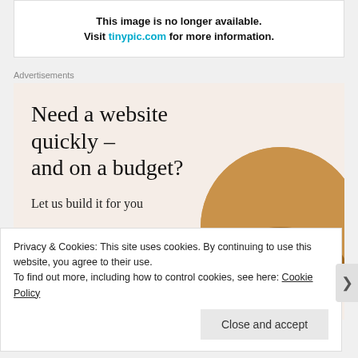[Figure (screenshot): Image unavailable notice: 'This image is no longer available. Visit tinypic.com for more information.']
Advertisements
[Figure (screenshot): Advertisement: Need a website quickly – and on a budget? Let us build it for you. Let's get started button. WordPress logo. Person typing on laptop (circular photo).]
Privacy & Cookies: This site uses cookies. By continuing to use this website, you agree to their use. To find out more, including how to control cookies, see here: Cookie Policy
Close and accept